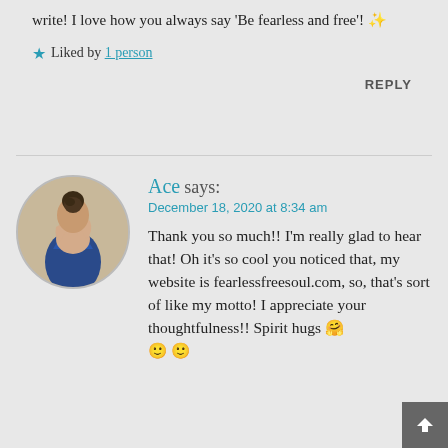write! I love how you always say 'Be fearless and free'! ✨
★ Liked by 1 person
REPLY
[Figure (illustration): Circular avatar image showing a person with hair up, wearing a blue outfit, viewed from behind on a beige background]
Ace says:
December 18, 2020 at 8:34 am
Thank you so much!! I'm really glad to hear that! Oh it's so cool you noticed that, my website is fearlessfreesoul.com, so, that's sort of like my motto! I appreciate your thoughtfulness!! Spirit hugs 🤗 🙂 🙂